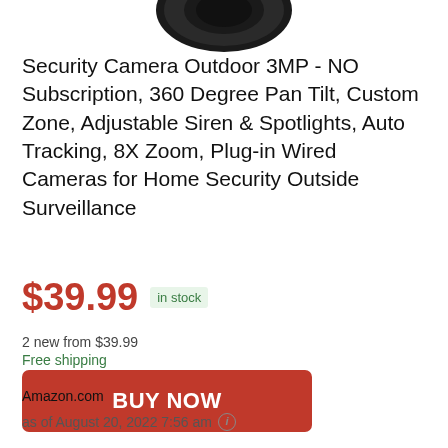[Figure (photo): Bottom portion of a security camera in black, cropped at top of page]
Security Camera Outdoor 3MP - NO Subscription, 360 Degree Pan Tilt, Custom Zone, Adjustable Siren & Spotlights, Auto Tracking, 8X Zoom, Plug-in Wired Cameras for Home Security Outside Surveillance
$39.99  in stock
2 new from $39.99
Free shipping
BUY NOW
Amazon.com
as of August 20, 2022 7:56 am ℹ